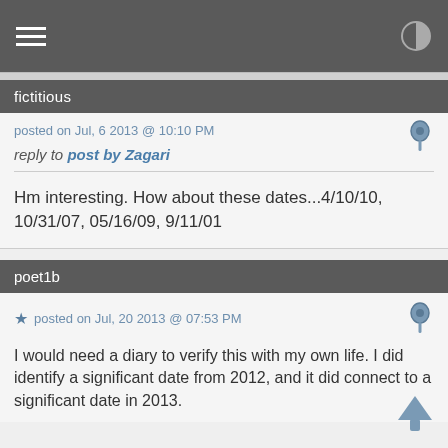Navigation bar with hamburger menu and contrast icon
fictitious
posted on Jul, 6 2013 @ 10:10 PM
reply to post by Zagari
Hm interesting. How about these dates...4/10/10, 10/31/07, 05/16/09, 9/11/01
poet1b
posted on Jul, 20 2013 @ 07:53 PM
I would need a diary to verify this with my own life. I did identify a significant date from 2012, and it did connect to a significant date in 2013.